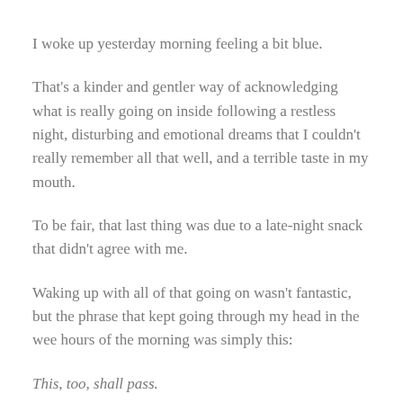I woke up yesterday morning feeling a bit blue.
That's a kinder and gentler way of acknowledging what is really going on inside following a restless night, disturbing and emotional dreams that I couldn't really remember all that well, and a terrible taste in my mouth.
To be fair, that last thing was due to a late-night snack that didn't agree with me.
Waking up with all of that going on wasn't fantastic, but the phrase that kept going through my head in the wee hours of the morning was simply this:
This, too, shall pass.
I remembered at that moment that there was a song with the same title as the phrase in my head by the innovative modern rock band